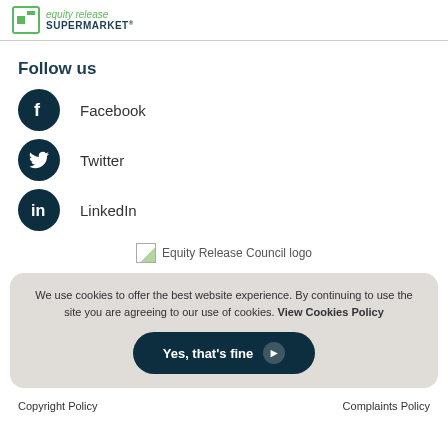[Figure (logo): Equity Release Supermarket logo with green icon and dark teal text]
Follow us
Facebook
Twitter
LinkedIn
[Figure (logo): Equity Release Council logo]
We use cookies to offer the best website experience. By continuing to use the site you are agreeing to our use of cookies. View Cookies Policy
Yes, that's fine ▶
Copyright Policy    Complaints Policy